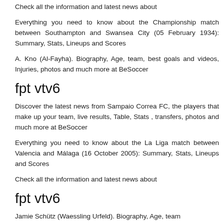Check all the information and latest news about
Everything you need to know about the Championship match between Southampton and Swansea City (05 February 1934): Summary, Stats, Lineups and Scores
A. Kno (Al-Fayha). Biography, Age, team, best goals and videos, Injuries, photos and much more at BeSoccer
fpt vtv6
Discover the latest news from Sampaio Correa FC, the players that make up your team, live results, Table, Stats , transfers, photos and much more at BeSoccer
Everything you need to know about the La Liga match between Valencia and Málaga (16 October 2005): Summary, Stats, Lineups and Scores
Check all the information and latest news about
fpt vtv6
Jamie Schütz (Waessling Urfeld). Biography, Age, team…